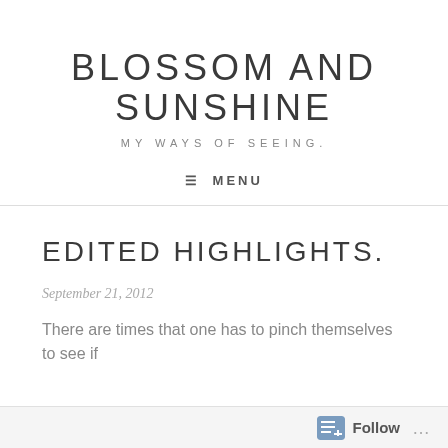BLOSSOM AND SUNSHINE
MY WAYS OF SEEING.
≡ MENU
EDITED HIGHLIGHTS.
September 21, 2012
There are times that one has to pinch themselves to see if
Follow ...